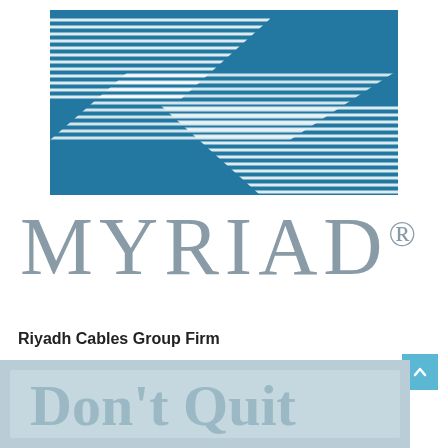[Figure (logo): Myriad brand logo: teal/blue background with white horizontal line wave pattern forming a stylized shape, topped by the word MYRIAD in large grey serif letters with registered trademark symbol]
Riyadh Cables Group Firm
[Figure (photo): Partial view of a photo at the bottom of the page showing text in a decorative style, partially cut off]